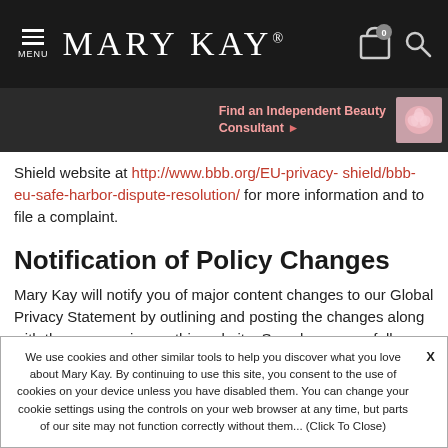MENU | MARY KAY | Find an Independent Beauty Consultant
Shield website at http://www.bbb.org/EU-privacy- shield/bbb-eu-safe-harbor-dispute-resolution/ for more information and to file a complaint.
Notification of Policy Changes
Mary Kay will notify you of major content changes to our Global Privacy Statement by outlining and posting the changes along with the new version on this website. See changes as follows:
We use cookies and other similar tools to help you discover what you love about Mary Kay. By continuing to use this site, you consent to the use of cookies on your device unless you have disabled them. You can change your cookie settings using the controls on your web browser at any time, but parts of our site may not function correctly without them... (Click To Close)